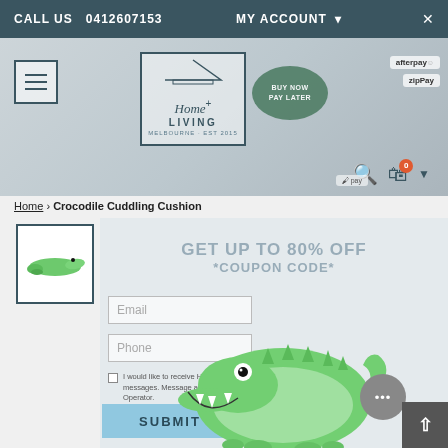CALL US  0412607153   MY ACCOUNT
[Figure (logo): Home + Living Melbourne Est. logo inside house outline shape]
[Figure (screenshot): Website navigation with menu icon, search, cart (0 items), BUY NOW PAY LATER button, afterpay and zipPay payment options]
Home › Crocodile Cuddling Cushion
GET UP TO 80% OFF
*COUPON CODE*
Email
Phone
I would like to receive Home and Living marketing email and text messages. Message and Data rates may apply from your Telecom Operator.
*Privacy Policy
[Figure (photo): Green crocodile stuffed cushion/plush toy with open mouth showing teeth, black eye]
SUBMIT